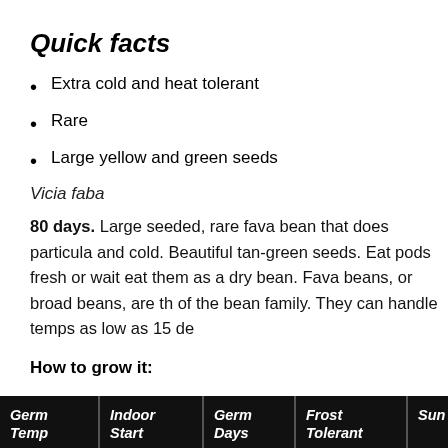Quick facts
Extra cold and heat tolerant
Rare
Large yellow and green seeds
Vicia faba
80 days. Large seeded, rare fava bean that does particula and cold. Beautiful tan-green seeds. Eat pods fresh or wait eat them as a dry bean. Fava beans, or broad beans, are th of the bean family. They can handle temps as low as 15 de
How to grow it:
| Germ Temp | Indoor Start | Germ Days | Frost Tolerant | Sun | S D |
| --- | --- | --- | --- | --- | --- |